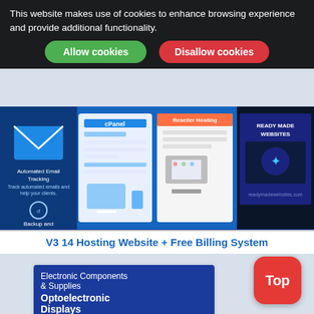This website makes use of cookies to enhance browsing experience and provide additional functionality.
Allow cookies
Disallow cookies
[Figure (screenshot): Hosting website advertisement banner showing cPanel, reseller hosting, and ready-made websites panels]
V3 14 Hosting Website + Free Billing System
[Figure (screenshot): Product listing card for Electronic Components & Supplies - Optoelectronic Displays, showing a P4 Indoor Full color LED Module with RGB 64x32 display]
P4 LED screen panel